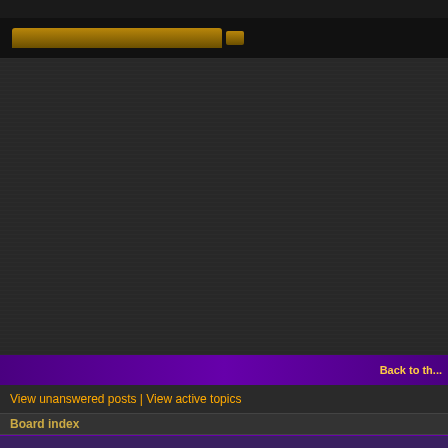[Figure (screenshot): Dark themed forum interface header with horizontal tab navigation bar containing golden/brown colored tab elements on black background]
Back to th...
View unanswered posts | View active topics
Board index